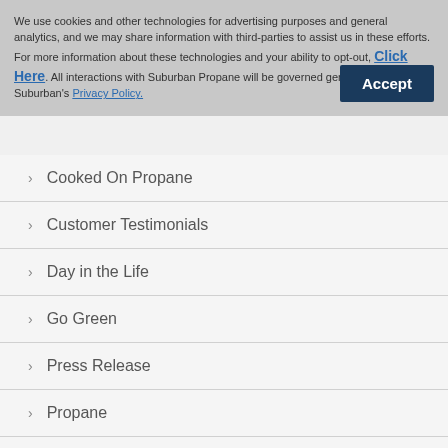We use cookies and other technologies for advertising purposes and general analytics, and we may share information with third-parties to assist us in these efforts. For more information about these technologies and your ability to opt-out, Click Here. All interactions with Suburban Propane will be governed generally by Suburban's Privacy Policy.
Cooked On Propane
Customer Testimonials
Day in the Life
Go Green
Press Release
Propane
SuburbanCares